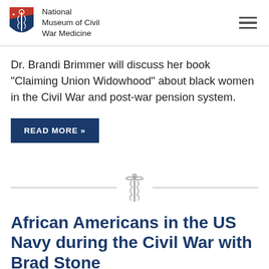National Museum of Civil War Medicine
Dr. Brandi Brimmer will discuss her book “Claiming Union Widowhood” about black women in the Civil War and post-war pension system.
READ MORE »
[Figure (illustration): Caduceus medical symbol divider]
African Americans in the US Navy during the Civil War with Brad Stone
Posted on: March 5th, 2021